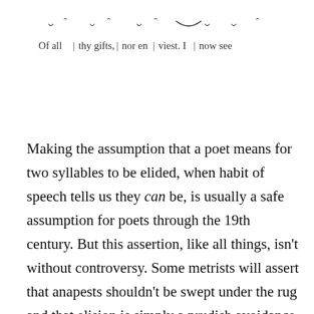[Figure (other): Metrical scansion marks (breve and ictus symbols) above a line of verse showing poetic feet divided by vertical bars: 'Of all | thy gifts, | nor en | viest. I | now see']
Making the assumption that a poet means for two syllables to be elided, when habit of speech tells us they can be, is usually a safe assumption for poets through the 19th century. But this assertion, like all things, isn't without controversy. Some metrists will assert that anapests shouldn't be swept under the rug and that elision is simply a prudish avoidance of anapests. Anything can be carried too far; and not all anapests should be excised. On the other hand, metrists who oppose such elision (as above) give no answer as to why so many anapests during this